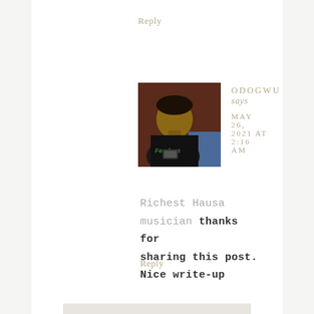Reply
[Figure (photo): Avatar photo of a young man wearing a dark t-shirt with green graphic text, looking down at a phone, seated against a dark red/brown background]
ODOGWU says
MAY 26, 2021 AT 2:16 AM
Richest Hausa musician thanks for sharing this post. Nice write-up
Reply